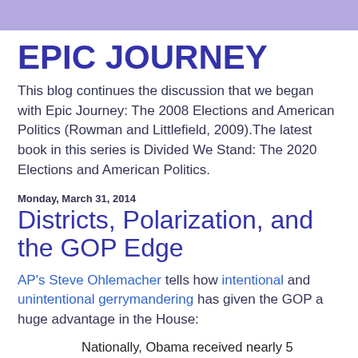EPIC JOURNEY
This blog continues the discussion that we began with Epic Journey: The 2008 Elections and American Politics (Rowman and Littlefield, 2009).The latest book in this series is Divided We Stand: The 2020 Elections and American Politics.
Monday, March 31, 2014
Districts, Polarization, and the GOP Edge
AP's Steve Ohlemacher tells how intentional and unintentional gerrymandering has given the GOP a huge advantage in the House:
Nationally, Obama received nearly 5 million more votes than Republican Mitt Romney. But in some states, large numbers of Obama's votes were...